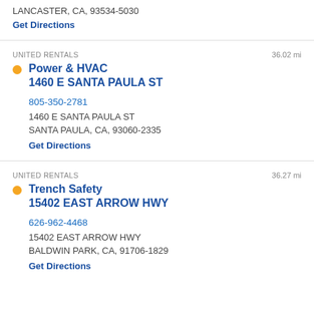LANCASTER, CA, 93534-5030
Get Directions
UNITED RENTALS   36.02 mi
Power & HVAC
1460 E SANTA PAULA ST
805-350-2781
1460 E SANTA PAULA ST
SANTA PAULA, CA, 93060-2335
Get Directions
UNITED RENTALS   36.27 mi
Trench Safety
15402 EAST ARROW HWY
626-962-4468
15402 EAST ARROW HWY
BALDWIN PARK, CA, 91706-1829
Get Directions